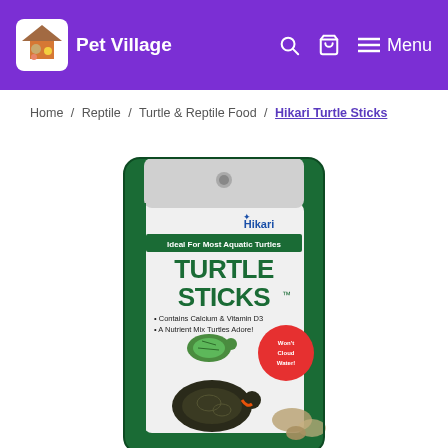Pet Village — Search, Cart, Menu
Home / Reptile / Turtle & Reptile Food / Hikari Turtle Sticks
[Figure (photo): Hikari Turtle Sticks product package — green stand-up pouch with Hikari logo. Text on pack: 'Ideal For Most Aquatic Turtles', 'TURTLE STICKS', 'Contains Calcium & Vitamin D3', 'A Nutrient Mix Turtles Adore!', 'Won't Cloud Water'. Images of two turtles on the front.]